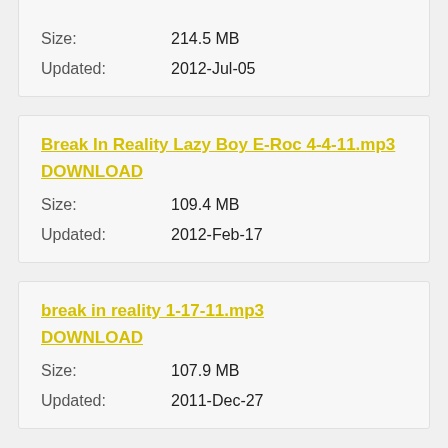Size: 214.5 MB
Updated: 2012-Jul-05
Break In Reality Lazy Boy E-Roc 4-4-11.mp3 DOWNLOAD
Size: 109.4 MB
Updated: 2012-Feb-17
break in reality 1-17-11.mp3 DOWNLOAD
Size: 107.9 MB
Updated: 2011-Dec-27